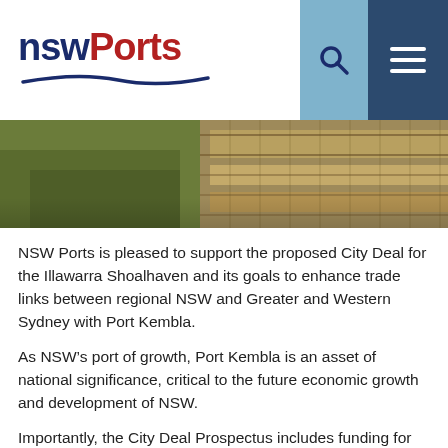[Figure (logo): NSW Ports logo with dark blue NSW text and dark red Ports text, with a blue swoosh underline]
[Figure (photo): Aerial photograph of Port Kembla showing railway tracks, stockpiles, and green vegetation]
NSW Ports is pleased to support the proposed City Deal for the Illawarra Shoalhaven and its goals to enhance trade links between regional NSW and Greater and Western Sydney with Port Kembla.
As NSW’s port of growth, Port Kembla is an asset of national significance, critical to the future economic growth and development of NSW.
Importantly, the City Deal Prospectus includes funding for two significant road and rail infrastructure projects that will benefit the Illawarra-Shoalhaven as well as Western Sydney through providing enhanced, direct